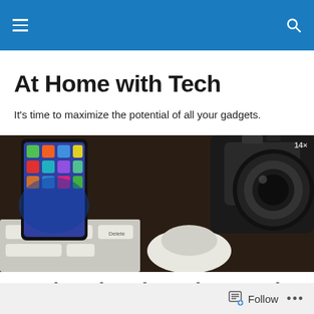≡  🔍
At Home with Tech
It's time to maximize the potential of all your gadgets.
[Figure (photo): Close-up photo of tech gadgets including a smartphone showing app icons, a Canon digital camera with zoom lens, a white computer mouse, and keyboard keys.]
Work-Related Texting On the Rise
Follow  •••